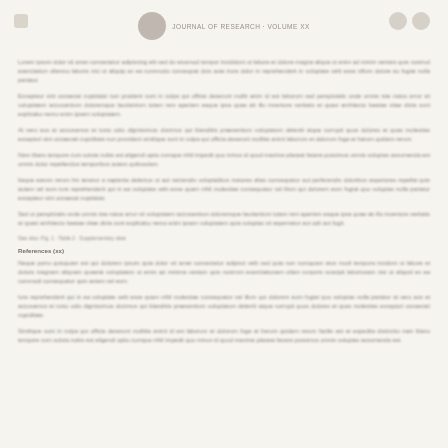[Journal header with logo and navigation icons]
[Body text paragraph 1 - blurred scientific content]
[Body text paragraph 2 - blurred scientific content]
[Body text paragraph 3 - blurred scientific content]
[Body text paragraph 4 - blurred scientific content]
[Body text paragraph 5 - blurred scientific content]
[Body text paragraph 6 - blurred scientific content]
[Small reference line]
References (or similar)
[Body text paragraph 7 - blurred scientific content]
[Body text paragraph 8 - blurred scientific content]
[Body text paragraph 9 - blurred scientific content]